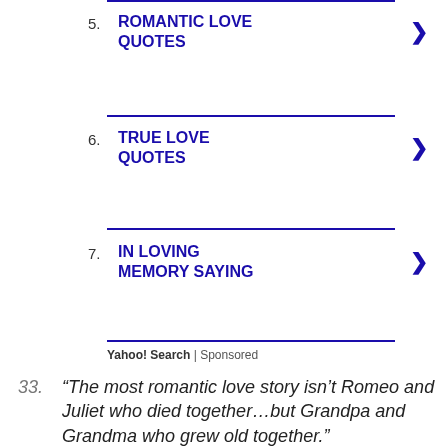5. ROMANTIC LOVE QUOTES
6. TRUE LOVE QUOTES
7. IN LOVING MEMORY SAYING
Yahoo! Search | Sponsored
33. “The most romantic love story isn’t Romeo and Juliet who died together…but Grandpa and Grandma who grew old together.”
[Figure (other): Dark box with large golden quotation mark (open double curly quotes) centered on dark gray background]